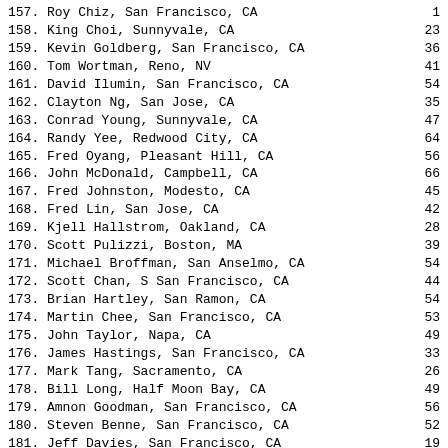157. (cut off) Roy Chiz, San Francisco, CA   1
158. King Choi, Sunnyvale, CA   23
159. Kevin Goldberg, San Francisco, CA   36
160. Tom Wortman, Reno, NV   41
161. David Ilumin, San Francisco, CA   54
162. Clayton Ng, San Jose, CA   35
163. Conrad Young, Sunnyvale, CA   47
164. Randy Yee, Redwood City, CA   64
165. Fred Oyang, Pleasant Hill, CA   56
166. John McDonald, Campbell, CA   66
167. Fred Johnston, Modesto, CA   45
168. Fred Lin, San Jose, CA   42
169. Kjell Hallstrom, Oakland, CA   28
170. Scott Pulizzi, Boston, MA   39
171. Michael Broffman, San Anselmo, CA   54
172. Scott Chan, S San Francisco, CA   44
173. Brian Hartley, San Ramon, CA   54
174. Martin Chee, San Francisco, CA   53
175. John Taylor, Napa, CA   49
176. James Hastings, San Francisco, CA   33
177. Mark Tang, Sacramento, CA   26
178. Bill Long, Half Moon Bay, CA   49
179. Amnon Goodman, San Francisco, CA   56
180. Steven Benne, San Francisco, CA   52
181. Jeff Davies, San Francisco, CA   19
182. Ron Berthiaume, Colorado Spring, CO   41
183. James Settelmeyer, Cottage Grove, OR   50
184. Benjamin Black, San Francisco, CA   64
185. Ran Qin, San Francisco, CA   77
186. Matthew Hiltebrand, San Francisco, CA   37
187. Jeff Hunter, Pacifica, CA   43